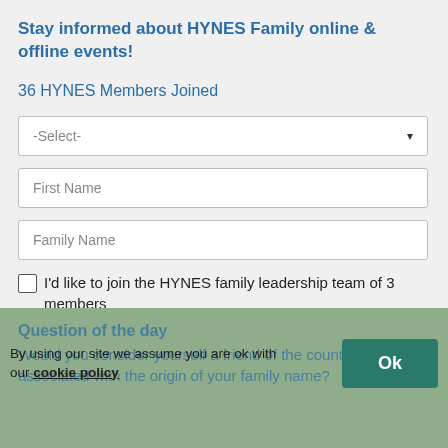Stay informed about HYNES Family online & offline events!
36 HYNES Members Joined
-Select-
First Name
Family Name
I'd like to join the HYNES family leadership team of 3 members
Question of the day
Would you consider yourself a friend of the countries associated with the origin of your family name?
By using our site we assume you are ok with our cookie policy
Ok